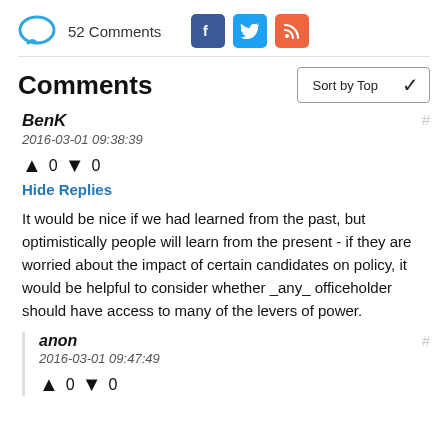52 Comments
Comments
BenK
2016-03-01 09:38:39
↑ 0 ↓ 0
Hide Replies
It would be nice if we had learned from the past, but optimistically people will learn from the present - if they are worried about the impact of certain candidates on policy, it would be helpful to consider whether _any_ officeholder should have access to many of the levers of power.
anon
2016-03-01 09:47:49
↑ 0 ↓ 0